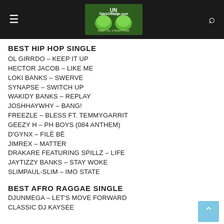TalesOfNaija.com
BEST HIP HOP SINGLE
OL GIRRDO – KEEP IT UP
HECTOR JACOB – LIKE ME
LOKI BANKS – SWERVE
SYNAPSE – SWITCH UP
WAKIDY BANKS – REPLAY
JOSHHAYWHY – BANG!
FREEZLE – BLESS FT. TEMMYGARRIT
GEEZY H – PH BOYS (084 ANTHEM)
D'GYNX – FILÈ BÈ
JIMREX – MATTER
DRAKARE FEATURING SPILLZ – LIFE
JAYTIZZY BANKS – STAY WOKE
SLIMPAUL-SLIM – IMO STATE
BEST AFRO RAGGAE SINGLE
DJUNMEGA – LET'S MOVE FORWARD
CLASSIC DJ KAYSEE